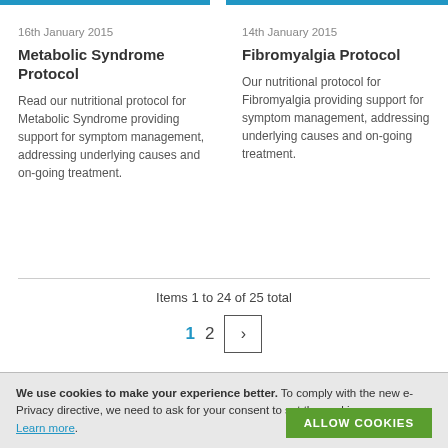16th January 2015
Metabolic Syndrome Protocol
Read our nutritional protocol for Metabolic Syndrome providing support for symptom management, addressing underlying causes and on-going treatment.
14th January 2015
Fibromyalgia Protocol
Our nutritional protocol for Fibromyalgia providing support for symptom management, addressing underlying causes and on-going treatment.
Items 1 to 24 of 25 total
1  2  >
We use cookies to make your experience better. To comply with the new e-Privacy directive, we need to ask for your consent to set the cookies. Learn more.